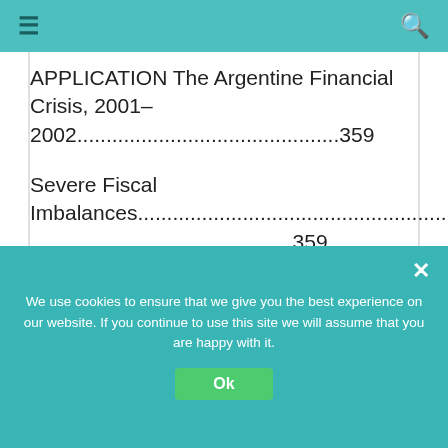≡  [search icon]
APPLICATION The Argentine Financial Crisis, 2001–2002.............................................359
Severe Fiscal Imbalances.............................................................................359
Adverse Selection and Moral Hazard Problems
We use cookies to ensure that we give you the best experience on our website. If you continue to use this site we will assume that you are happy with it.